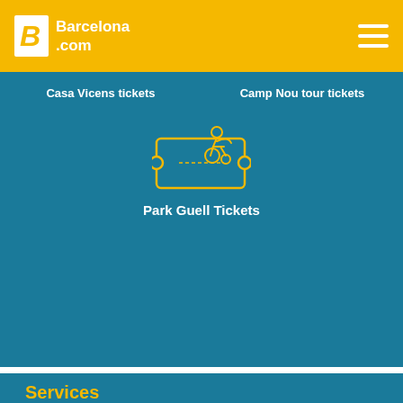Barcelona.com
Casa Vicens tickets
Camp Nou tour tickets
[Figure (illustration): Yellow outline icon of person in wheelchair on a ticket]
Park Guell Tickets
Services
Hotels
Apartments
Tours & Tickets
FC Barcelona Tickets
Rent a car